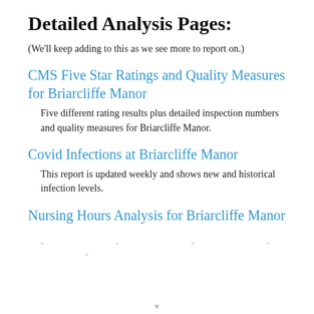Detailed Analysis Pages:
(We'll keep adding to this as we see more to report on.)
CMS Five Star Ratings and Quality Measures for Briarcliffe Manor
Five different rating results plus detailed inspection numbers and quality measures for Briarcliffe Manor.
Covid Infections at Briarcliffe Manor
This report is updated weekly and shows new and historical infection levels.
Nursing Hours Analysis for Briarcliffe Manor
- - - - -
v